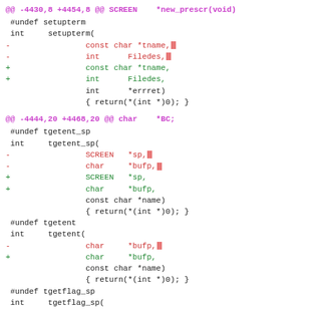@@ -4430,8 +4454,8 @@ SCREEN   *new_prescr(void)
 #undef setupterm
 int     setupterm(
-                const char *tname,
-                int      Filedes,
+                const char *tname,
+                int      Filedes,
                 int      *errret)
                 { return(*(int *)0); }
@@ -4444,20 +4468,20 @@ char   *BC;
 #undef tgetent_sp
 int     tgetent_sp(
-                SCREEN  *sp,
-                char     *bufp,
+                SCREEN  *sp,
+                char     *bufp,
                 const char *name)
                 { return(*(int *)0); }
 #undef tgetent
 int     tgetent(
-                char     *bufp,
+                char     *bufp,
                 const char *name)
                 { return(*(int *)0); }
 #undef tgetflag_sp
 int     tgetflag_sp(